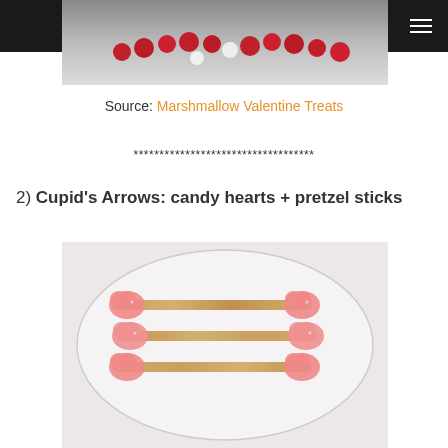[Figure (photo): Top portion of a photo showing red and white decorative beads/berries on a dark background]
Source: Marshmallow Valentine Treats
***********************************
2) Cupid's Arrows: candy hearts + pretzel sticks
[Figure (photo): Photo of a white plate with pretzel sticks threaded through pink sugared candy hearts arranged as Cupid's arrows]